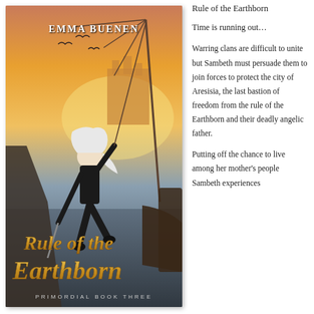[Figure (illustration): Book cover for 'Rule of the Earthborn' by Emma Buenen, Primordial Book Three. A female warrior with white hair in black clothing holds a rope attached to a ship's rigging, wielding a sword. Fantasy landscape with castle behind mountains and glowing sky. Gold stylized title text at the bottom.]
Rule of the Earthborn
Time is running out…
Warring clans are difficult to unite but Sambeth must persuade them to join forces to protect the city of Aresisia, the last bastion of freedom from the rule of the Earthborn and their deadly angelic father.
Putting off the chance to live among her mother's people Sambeth experiences